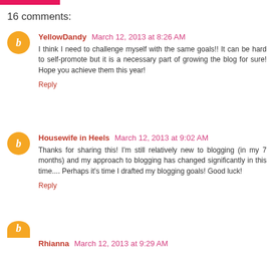16 comments:
YellowDandy March 12, 2013 at 8:26 AM
I think I need to challenge myself with the same goals!! It can be hard to self-promote but it is a necessary part of growing the blog for sure! Hope you achieve them this year!
Reply
Housewife in Heels March 12, 2013 at 9:02 AM
Thanks for sharing this! I'm still relatively new to blogging (in my 7 months) and my approach to blogging has changed significantly in this time.... Perhaps it's time I drafted my blogging goals! Good luck!
Reply
Rhianna March 12, 2013 at 9:29 AM